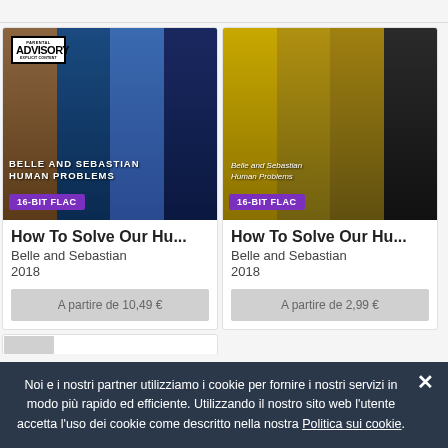[Figure (photo): Album cover for How To Solve Our Human Problems by Belle and Sebastian (left card) with Parental Advisory badge and 16-BIT FLAC label]
How To Solve Our Hu...
Belle and Sebastian
2018
A partire de 10,49 €
[Figure (photo): Album cover for How To Solve Our Human Problems by Belle and Sebastian (right card) with 16-BIT FLAC label, yellow-tinted group photo]
How To Solve Our Hu...
Belle and Sebastian
2018
A partire de 2,99 €
Noi e i nostri partner utilizziamo i cookie per fornire i nostri servizi in modo più rapido ed efficiente. Utilizzando il nostro sito web l'utente accetta l'uso dei cookie come descritto nella nostra Politica sui cookie.